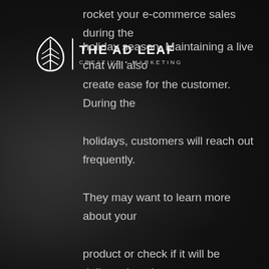[Figure (logo): The Ad Leaf logo — leaf icon, vertical divider, THE AD LEAF in bold, CREATIVE • MARKETING below]
rocket your e-commerce sales during the holiday season. Maintaining a live chat will also create ease for the customer. During the holidays, customers will reach out frequently. They may want to learn more about your product or check if it will be delivered on time. Not only do they have questions more often, but they are expecting to receive a quick response. Integrating a live chat into your website can be a solution to this.

The holiday season is also a great time to make greater use of your social media. Developing a plan specific to your social media can increase your connection with your